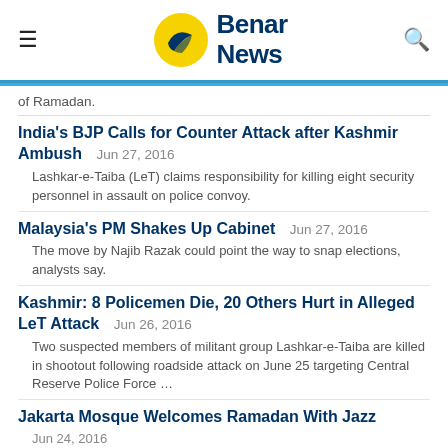Benar News
of Ramadan.
India's BJP Calls for Counter Attack after Kashmir Ambush
Jun 27, 2016
Lashkar-e-Taiba (LeT) claims responsibility for killing eight security personnel in assault on police convoy.
Malaysia's PM Shakes Up Cabinet
Jun 27, 2016
The move by Najib Razak could point the way to snap elections, analysts say.
Kashmir: 8 Policemen Die, 20 Others Hurt in Alleged LeT Attack
Jun 26, 2016
Two suspected members of militant group Lashkar-e-Taiba are killed in shootout following roadside attack on June 25 targeting Central Reserve Police Force …
Jakarta Mosque Welcomes Ramadan With Jazz
Jun 24, 2016
Visitors may donate money, blood or books at free